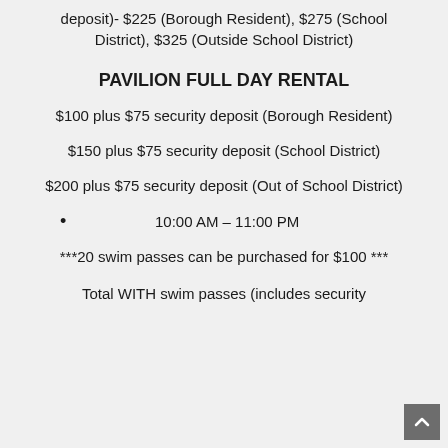deposit)- $225 (Borough Resident), $275 (School District), $325 (Outside School District)
PAVILION FULL DAY RENTAL
$100 plus $75 security deposit (Borough Resident)
$150 plus $75 security deposit (School District)
$200 plus $75 security deposit (Out of School District)
10:00 AM – 11:00 PM
***20 swim passes can be purchased for $100 ***
Total WITH swim passes (includes security